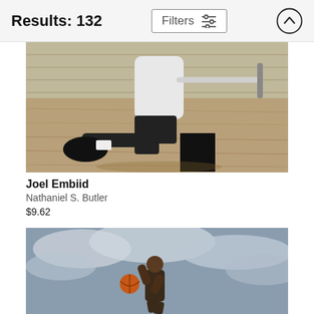Results: 132
[Figure (photo): A person wearing a white hoodie and black pants with black sneakers, posing with one leg up on a black cube on a wooden floor against a brick wall background.]
Joel Embiid
Nathaniel S. Butler
$9.62
[Figure (photo): A basketball player jumping and holding a basketball up in the air, photographed from a low angle against a cloudy sky.]